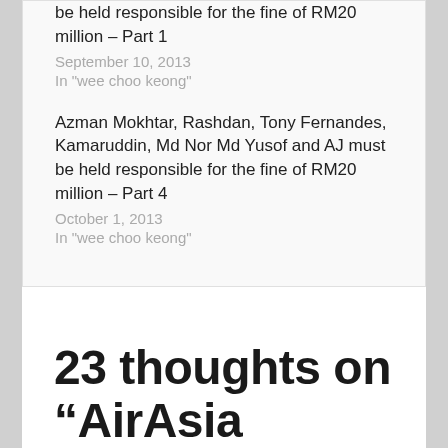be held responsible for the fine of RM20 million – Part 1
September 10, 2013
In "wee choo keong"
Azman Mokhtar, Rashdan, Tony Fernandes, Kamaruddin, Md Nor Md Yusof and AJ must be held responsible for the fine of RM20 million – Part 4
October 1, 2013
In "wee choo keong"
23 thoughts on “AirAsia